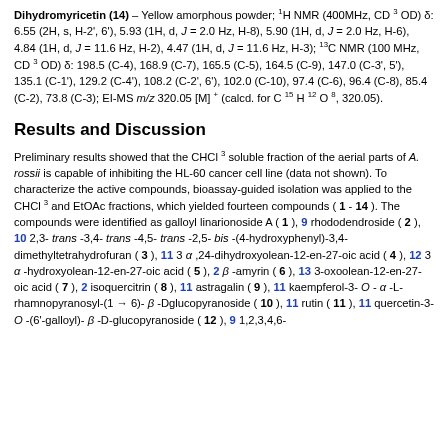Dihydromyricetin (14) – Yellow amorphous powder; 1H NMR (400MHz, CD3OD) δ: 6.55 (2H, s, H-2', 6'), 5.93 (1H, d, J = 2.0 Hz, H-8), 5.90 (1H, d, J = 2.0 Hz, H-6), 4.84 (1H, d, J = 11.6 Hz, H-2), 4.47 (1H, d, J = 11.6 Hz, H-3); 13C NMR (100 MHz, CD3OD) δ: 198.5 (C-4), 168.9 (C-7), 165.5 (C-5), 164.5 (C-9), 147.0 (C-3', 5'), 135.1 (C-1'), 129.2 (C-4'), 108.2 (C-2', 6'), 102.0 (C-10), 97.4 (C-6), 96.4 (C-8), 85.4 (C-2), 73.8 (C-3); EI-MS m/z 320.05 [M] + (calcd. for C15H12O8, 320.05).
Results and Discussion
Preliminary results showed that the CHCl3 soluble fraction of the aerial parts of A. rossii is capable of inhibiting the HL-60 cancer cell line (data not shown). To characterize the active compounds, bioassay-guided isolation was applied to the CHCl3 and EtOAc fractions, which yielded fourteen compounds ( 1 - 14 ). The compounds were identified as galloyl linarionoside A ( 1 ), 9 rhododendroside ( 2 ), 10 2,3- trans -3,4- trans -4,5- trans -2,5- bis -(4-hydroxyphenyl)-3,4-dimethyltetrahydrofuran ( 3 ), 11 3 α ,24-dihydroxyolean-12-en-27-oic acid ( 4 ), 12 3 α -hydroxyolean-12-en-27-oic acid ( 5 ), 2 β -amyrin ( 6 ), 13 3-oxoolean-12-en-27-oic acid ( 7 ), 2 isoquercitrin ( 8 ), 11 astragalin ( 9 ), 11 kaempferol-3- O - α -L-rhamnopyranosyl-(1 → 6)- β -Dglucopyranoside ( 10 ), 11 rutin ( 11 ), 11 quercetin-3- O -(6'-galloyl)- β -D-glucopyranoside ( 12 ), 9 1,2,3,4,6-